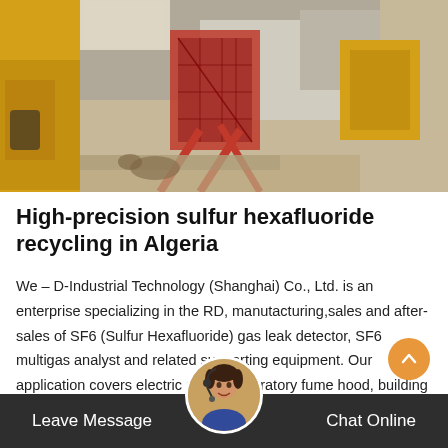[Figure (photo): Industrial scene with yellow heavy equipment/machinery and red metal structures on a street or construction/industrial site. Two yellow crane or utility vehicles visible, with red fencing or scaffolding components on pavement.]
High-precision sulfur hexafluoride recycling in Algeria
We – D-Industrial Technology (Shanghai) Co., Ltd. is an enterprise specializing in the RD, manutacturing,sales and after-sales of SF6 (Sulfur Hexafluoride) gas leak detector, SF6 multigas analyst and related supporting equipment. Our application covers electric power, laboratory fume hood, building ventilation, mine ventilation, torpedo head and products, helicopter rotor blades
Leave Message   Chat Online